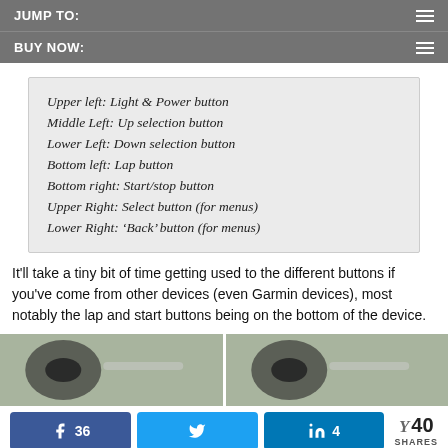JUMP TO:
BUY NOW:
Upper left: Light & Power button
Middle Left: Up selection button
Lower Left: Down selection button
Bottom left: Lap button
Bottom right: Start/stop button
Upper Right: Select button (for menus)
Lower Right: ‘Back’ button (for menus)
It’ll take a tiny bit of time getting used to the different buttons if you’ve come from other devices (even Garmin devices), most notably the lap and start buttons being on the bottom of the device.
[Figure (photo): Two blurred close-up photos of a device with buttons visible]
36 shares (Facebook), Twitter share, 4 LinkedIn shares, 40 total SHARES